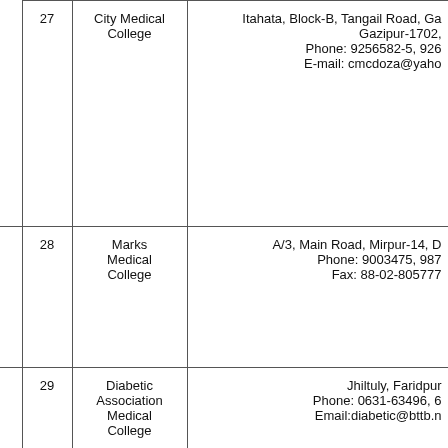|  | # | College Name | Address |
| --- | --- | --- | --- |
|  | 27 | City Medical College | Itahata, Block-B, Tangail Road, Ga
Gazipur-1702,
Phone: 9256582-5, 926
E-mail: cmcdoza@yaho |
|  | 28 | Marks Medical College | A/3, Main Road, Mirpur-14, D
Phone: 9003475, 987
Fax: 88-02-805777 |
|  | 29 | Diabetic Association Medical College | Jhiltuly, Faridpur
Phone: 0631-63496, 6
Email:diabetic@bttb.n |
|  | 30 | Northern International Medical College (Recognition | House# 84, Road # 8/A (New), ( Ol
Dhaka-1209,
Tel: (880-2) 8156914, 815683
Fax: 88-02-815691
E-mail: info@nimch.co |